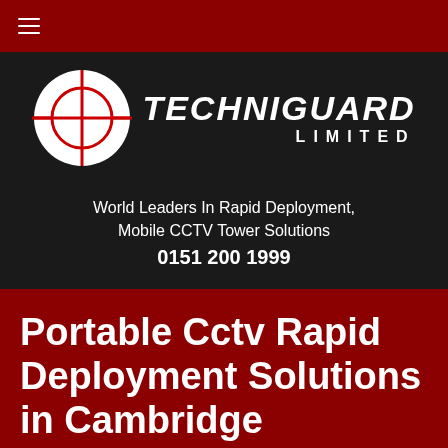[Figure (logo): Techniguard Limited logo with crosshair circle graphic and brand name in italic bold white text on dark background]
World Leaders In Rapid Deployment, Mobile CCTV Tower Solutions
0151 200 1999
Portable Cctv Rapid Deployment Solutions in Cambridge